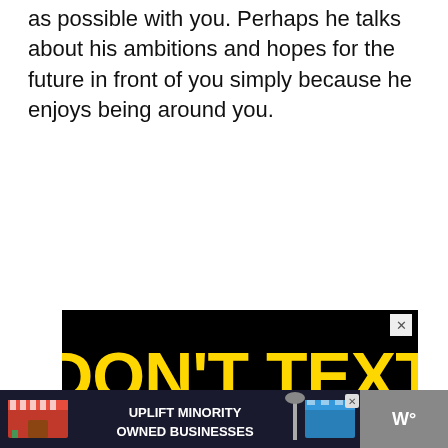as possible with you. Perhaps he talks about his ambitions and hopes for the future in front of you simply because he enjoys being around you.
[Figure (screenshot): Advertisement: black background with yellow bold text 'DON'T TEXT' and cyan bold text 'AND' with a red car emoji, a chat bubble saying 'Can I help you?', and a circular profile photo of a smiling woman with a red badge showing '1'. An X close button is in the top right corner.]
[Figure (screenshot): Advertisement banner: dark background with storefront emoji on left and right, text 'UPLIFT MINORITY OWNED BUSINESSES' in white bold, a street lamp emoji in center, an X close button, and a 'W°' logo on the right.]